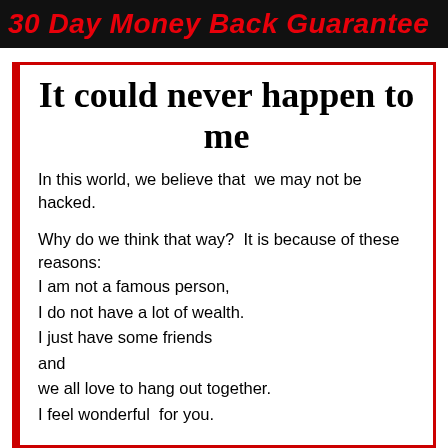30 Day Money Back Guarantee
It could never happen to me
In this world, we believe that  we may not be hacked.
Why do we think that way?  It is because of these reasons:
I am not a famous person,
I do not have a lot of wealth.
I just have some friends
and
we all love to hang out together.
I feel wonderful  for you.